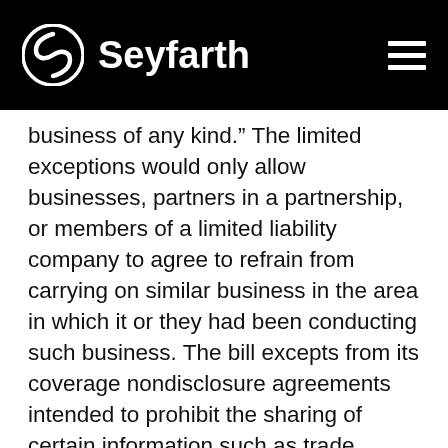Seyfarth
business of any kind." The limited exceptions would only allow businesses, partners in a partnership, or members of a limited liability company to agree to refrain from carrying on similar business in the area in which it or they had been conducting such business. The bill excepts from its coverage nondisclosure agreements intended to prohibit the sharing of certain information such as trade secrets and proprietary or confidential information.
The effect of the bill, if passed, would be to invalidate all employee non-compete agreements. Proponents of the bill claim it would transform Virginia into an entrepreneur haven like Silicon